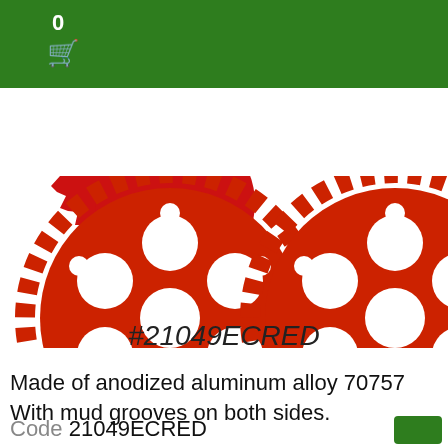0
[Figure (photo): Two red anodized aluminum alloy sprocket gears with mud grooves, partially cropped, on white background]
#21049ECRED
Made of anodized aluminum alloy 70757 With mud grooves on both sides.
Code 21049ECRED